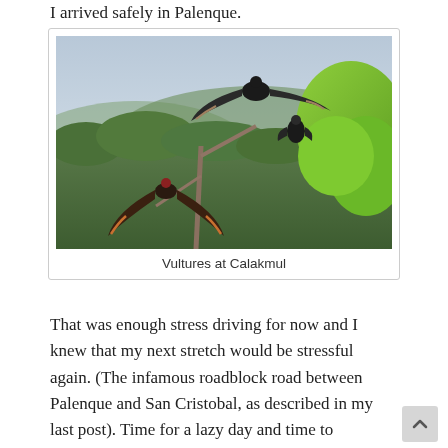I arrived safely in Palenque.
[Figure (photo): Photo of vultures perched and spreading wings on a dead tree branch above the jungle canopy at Calakmul, with a green forest backdrop and hazy sky]
Vultures at Calakmul
That was enough stress driving for now and I knew that my next stretch would be stressful again. (The infamous roadblock road between Palenque and San Cristobal, as described in my last post). Time for a lazy day and time to